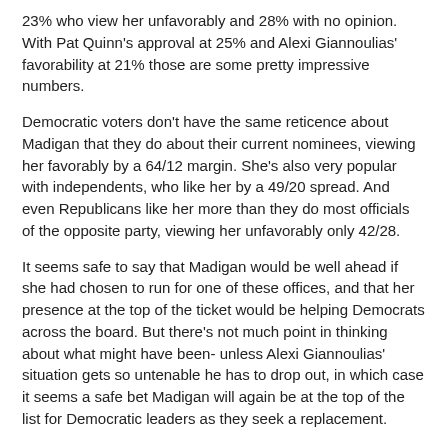23% who view her unfavorably and 28% with no opinion. With Pat Quinn's approval at 25% and Alexi Giannoulias' favorability at 21% those are some pretty impressive numbers.
Democratic voters don't have the same reticence about Madigan that they do about their current nominees, viewing her favorably by a 64/12 margin. She's also very popular with independents, who like her by a 49/20 spread. And even Republicans like her more than they do most officials of the opposite party, viewing her unfavorably only 42/28.
It seems safe to say that Madigan would be well ahead if she had chosen to run for one of these offices, and that her presence at the top of the ticket would be helping Democrats across the board. But there's not much point in thinking about what might have been- unless Alexi Giannoulias' situation gets so untenable he has to drop out, in which case it seems a safe bet Madigan will again be at the top of the list for Democratic leaders as they seek a replacement.
Full results here